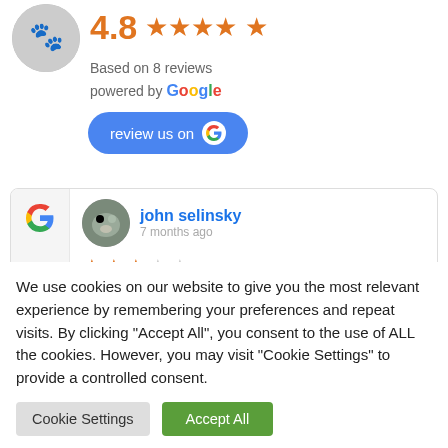4.8 ★★★★½ Based on 8 reviews powered by Google
[Figure (screenshot): Review us on Google button with Google G icon]
[Figure (screenshot): Google review card for john selinsky, 7 months ago, 3 out of 5 stars, text: I purchased 50 pounds of merlot. I would have]
We use cookies on our website to give you the most relevant experience by remembering your preferences and repeat visits. By clicking "Accept All", you consent to the use of ALL the cookies. However, you may visit "Cookie Settings" to provide a controlled consent.
Cookie Settings | Accept All